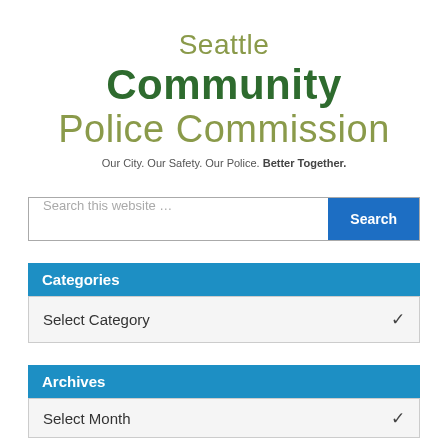Seattle Community Police Commission
Our City. Our Safety. Our Police. Better Together.
[Figure (screenshot): Search box with placeholder 'Search this website …' and a blue Search button]
Categories
Select Category
Archives
Select Month